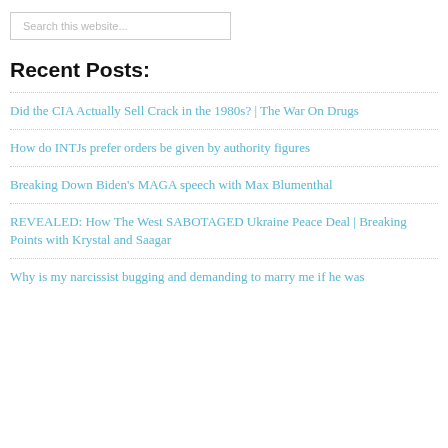Search this website...
Recent Posts:
Did the CIA Actually Sell Crack in the 1980s? | The War On Drugs
How do INTJs prefer orders be given by authority figures
Breaking Down Biden's MAGA speech with Max Blumenthal
REVEALED: How The West SABOTAGED Ukraine Peace Deal | Breaking Points with Krystal and Saagar
Why is my narcissist bugging and demanding to marry me if he was...